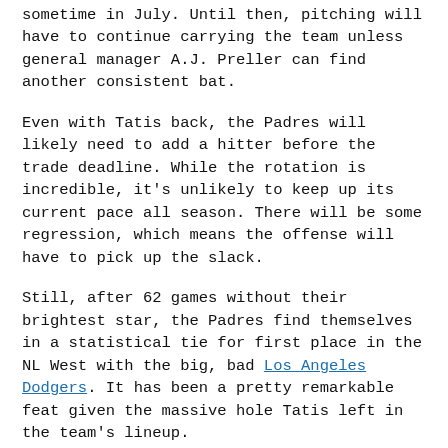sometime in July. Until then, pitching will have to continue carrying the team unless general manager A.J. Preller can find another consistent bat.
Even with Tatis back, the Padres will likely need to add a hitter before the trade deadline. While the rotation is incredible, it's unlikely to keep up its current pace all season. There will be some regression, which means the offense will have to pick up the slack.
Still, after 62 games without their brightest star, the Padres find themselves in a statistical tie for first place in the NL West with the big, bad Los Angeles Dodgers. It has been a pretty remarkable feat given the massive hole Tatis left in the team's lineup.
[Figure (photo): Blue rectangular image placeholder (solid cyan/blue color block)]